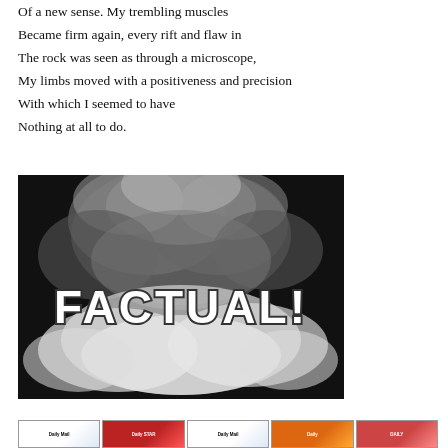Of a new sense. My trembling muscles
Became firm again, every rift and flaw in
The rock was seen as through a microscope,
My limbs moved with a positiveness and precision
With which I seemed to have
Nothing at all to do.
[Figure (photo): Black and white photograph of an explosion or large cloud of smoke with the word 'FACTUAL!' overlaid in large bold white block letters with a dark outline.]
[Figure (other): Row of five small thumbnail images of newspaper front pages including Daily Mail, Daily Star, Daily Mail again, Daily, and another tabloid.]